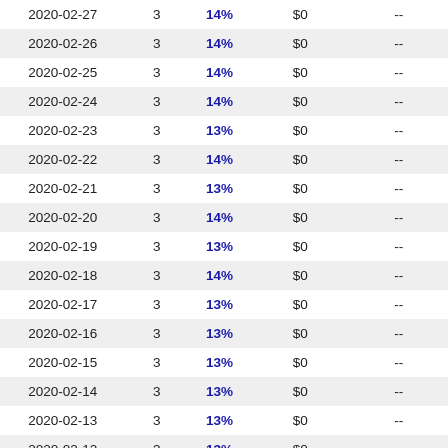| 2020-02-27 | 3 | 14% | $0 | -- |
| 2020-02-26 | 3 | 14% | $0 | -- |
| 2020-02-25 | 3 | 14% | $0 | -- |
| 2020-02-24 | 3 | 14% | $0 | -- |
| 2020-02-23 | 3 | 13% | $0 | -- |
| 2020-02-22 | 3 | 14% | $0 | -- |
| 2020-02-21 | 3 | 13% | $0 | -- |
| 2020-02-20 | 3 | 14% | $0 | -- |
| 2020-02-19 | 3 | 13% | $0 | -- |
| 2020-02-18 | 3 | 14% | $0 | -- |
| 2020-02-17 | 3 | 13% | $0 | -- |
| 2020-02-16 | 3 | 13% | $0 | -- |
| 2020-02-15 | 3 | 13% | $0 | -- |
| 2020-02-14 | 3 | 13% | $0 | -- |
| 2020-02-13 | 3 | 13% | $0 | -- |
| 2020-02-12 | 3 | 13% | $0 | -- |
| 2020-02-11 | 3 | 13% | $0 | -- |